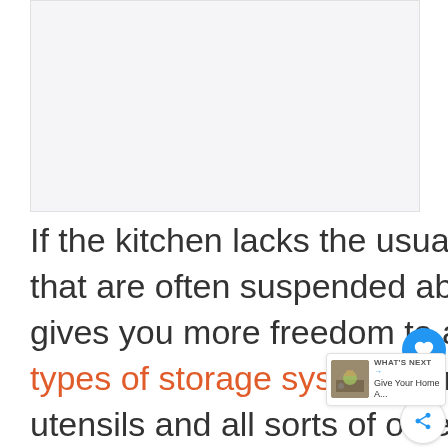[Figure (photo): Placeholder image area, light gray background, representing a kitchen photo]
If the kitchen lacks the usual wall-mounted cabinets that are often suspended above the backsplash, that gives you more freedom to add shelves and other types of storage systems for pots, pans, dishes, utensils and all sorts of other things.